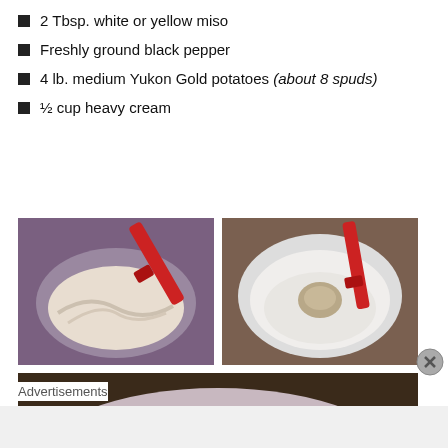2 Tbsp. white or yellow miso
Freshly ground black pepper
4 lb. medium Yukon Gold potatoes (about 8 spuds)
½ cup heavy cream
[Figure (photo): A purple mixing bowl with creamy white/beige mixture and a red spatula stirring it.]
[Figure (photo): A white bowl with a small amount of paste/miso and a red spatula.]
[Figure (photo): A pink/lavender plate with mashed potatoes garnished with green onions.]
Advertisements